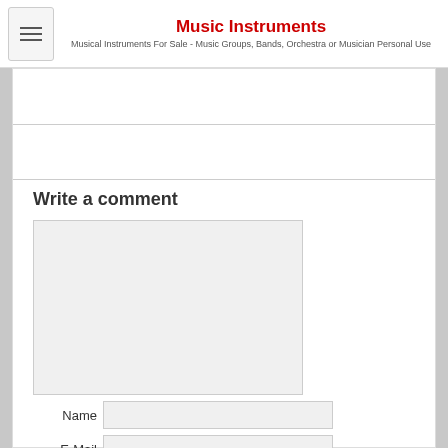Music Instruments
Musical Instruments For Sale - Music Groups, Bands, Orchestra or Musician Personal Use
Write a comment
[Figure (screenshot): A web comment form with a large textarea and fields for Name, E-Mail, and URL, plus an 'Add comment' button.]